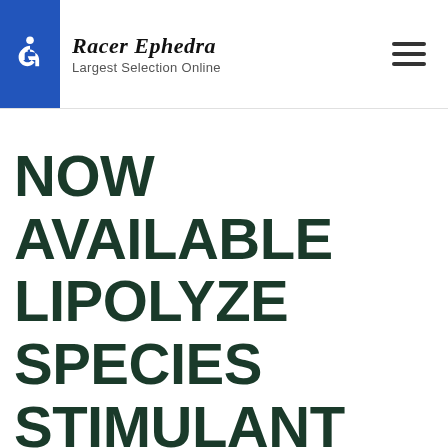Racer Ephedra – Largest Selection Online
NOW AVAILABLE LIPOLYZE SPECIES STIMULANT AND CAFFEINE FREE FAT BURNER